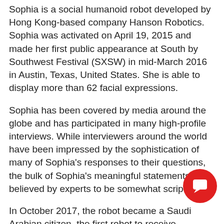Sophia is a social humanoid robot developed by Hong Kong-based company Hanson Robotics. Sophia was activated on April 19, 2015 and made her first public appearance at South by Southwest Festival (SXSW) in mid-March 2016 in Austin, Texas, United States. She is able to display more than 62 facial expressions.
Sophia has been covered by media around the globe and has participated in many high-profile interviews. While interviewers around the world have been impressed by the sophistication of many of Sophia's responses to their questions, the bulk of Sophia's meaningful statements are believed by experts to be somewhat scripted.
In October 2017, the robot became a Saudi Arabian citizen, the first robot to receive citizenship of any country. In November 2017, Sophia was named the United Nations Development Programme's first ever Innovation Champion, and the first non-human to be given any United Nations title.
For more info, check wikipedia or google Sophia the first human citizen.
There may come a time when all countries have robot